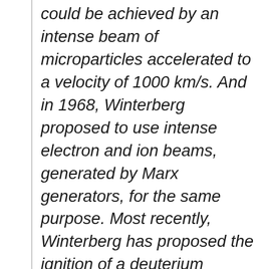could be achieved by an intense beam of microparticles accelerated to a velocity of 1000 km/s. And in 1968, Winterberg proposed to use intense electron and ion beams, generated by Marx generators, for the same purpose. Most recently, Winterberg has proposed the ignition of a deuterium microexplosion, with a gigavolt super-Marx generator, which is a Marx Generator driven by up to 100 ordinary Marx generators